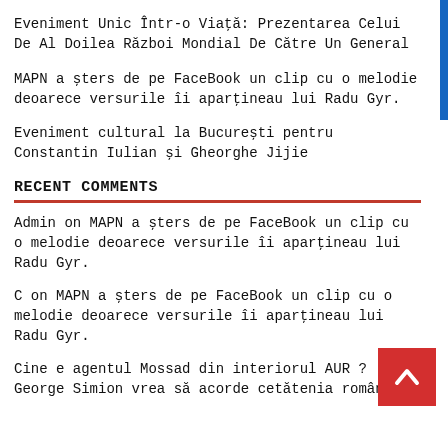Eveniment Unic Într-o Viată: Prezentarea Celui De Al Doilea Război Mondial De Către Un General
MAPN a șters de pe FaceBook un clip cu o melodie deoarece versurile îi aparțineau lui Radu Gyr.
Eveniment cultural la București pentru Constantin Iulian și Gheorghe Jijie
RECENT COMMENTS
Admin on MAPN a șters de pe FaceBook un clip cu o melodie deoarece versurile îi aparțineau lui Radu Gyr.
C on MAPN a șters de pe FaceBook un clip cu o melodie deoarece versurile îi aparțineau lui Radu Gyr.
Cine e agentul Mossad din interiorul AUR ? George Simion vrea să acorde cetătenia română la